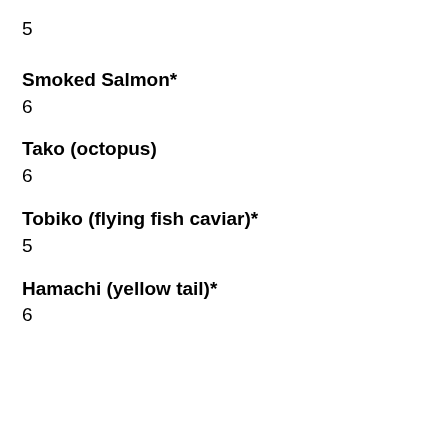5
Smoked Salmon*
6
Tako (octopus)
6
Tobiko (flying fish caviar)*
5
Hamachi (yellow tail)*
6